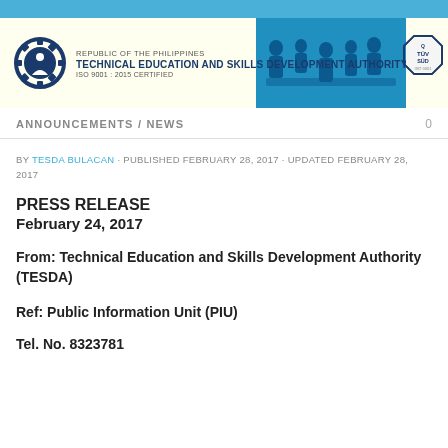[Figure (logo): TESDA header banner with gear logo, Republic of the Philippines TESDA title, ISO 9001:2015 certified, blue workers silhouette image, and TUV SUD certification badge]
ANNOUNCEMENTS / NEWS   0
BY TESDA BULACAN · PUBLISHED FEBRUARY 28, 2017 · UPDATED FEBRUARY 28, 2017
PRESS RELEASE
February 24, 2017
From: Technical Education and Skills Development Authority (TESDA)
Ref: Public Information Unit (PIU)
Tel. No. 8323781